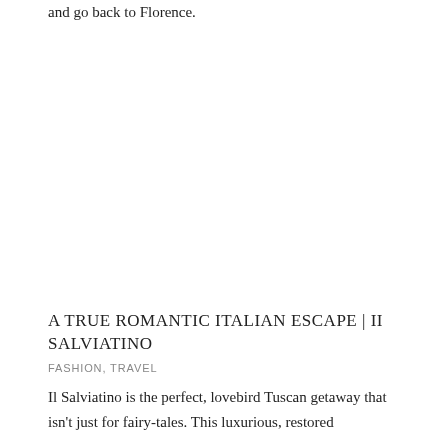and go back to Florence.
A TRUE ROMANTIC ITALIAN ESCAPE | II SALVIATINO
FASHION, TRAVEL
Il Salviatino is the perfect, lovebird Tuscan getaway that isn't just for fairy-tales. This luxurious, restored